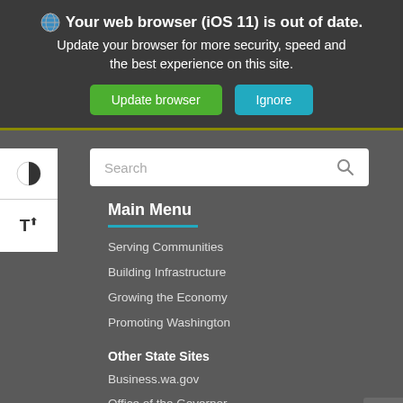🌐 Your web browser (iOS 11) is out of date. Update your browser for more security, speed and the best experience on this site.
Update browser | Ignore
[Figure (screenshot): Search bar with placeholder text 'Search' and magnifier icon]
Main Menu
Serving Communities
Building Infrastructure
Growing the Economy
Promoting Washington
Other State Sites
Business.wa.gov
Office of the Governor
Secretary of State